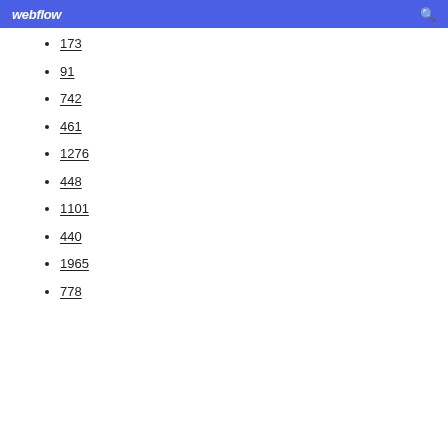webflow
173
91
742
461
1276
448
1101
440
1965
778